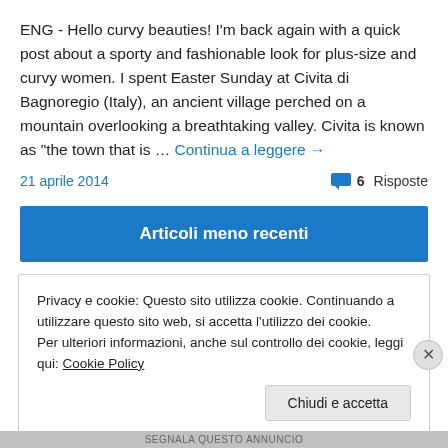ENG - Hello curvy beauties! I'm back again with a quick post about a sporty and fashionable look for plus-size and curvy women. I spent Easter Sunday at Civita di Bagnoregio (Italy), an ancient village perched on a mountain overlooking a breathtaking valley. Civita is known as "the town that is … Continua a leggere →
21 aprile 2014
6 Risposte
Articoli meno recenti
Privacy e cookie: Questo sito utilizza cookie. Continuando a utilizzare questo sito web, si accetta l'utilizzo dei cookie.
Per ulteriori informazioni, anche sul controllo dei cookie, leggi qui: Cookie Policy
Chiudi e accetta